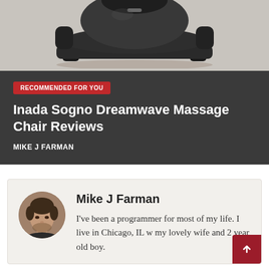[Figure (photo): Inada Sogno Dreamwave massage chair, dark brown/black color, shown on a light gray background, partially cropped at top]
RECOMMENDED FOR YOU
Inada Sogno Dreamwave Massage Chair Reviews
MIKE J FARMAN
[Figure (photo): Circular avatar photo of Mike J Farman, a man with short dark hair and beard]
Mike J Farman
I've been a programmer for most of my life. I live in Chicago, IL w my lovely wife and 2 year old boy.